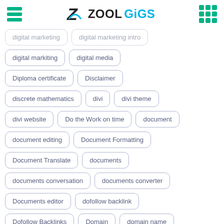ZoolGigs
digital marketing
digital marketing intro
digital markiting
digital media
Diploma certificate
Disclaimer
discrete mathematics
divi
divi theme
divi website
Do the Work on time
document
document editing
Document Formatting
Document Translate
documents
documents conversation
documents converter
Documents editor
dofollow backlink
Dofollow Backlinks
Domain
domain name